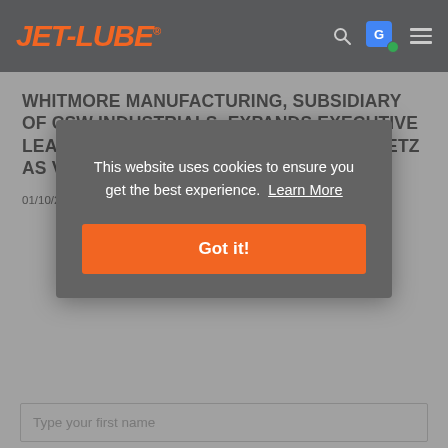JET-LUBE
WHITMORE MANUFACTURING, SUBSIDIARY OF CSW INDUSTRIALS, EXPANDS EXECUTIVE LEADERSHIP TEAM BY HIRING CHAD SPRETZ AS VICE PRESIDENT OF SALES
01/10/22  Internal Corner | Press Releases
This website uses cookies to ensure you get the best experience.  Learn More
Got it!
Type your first name